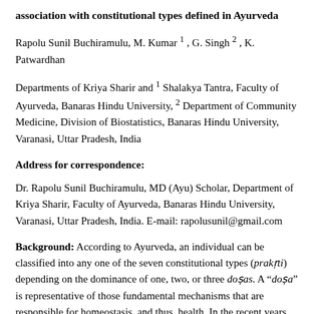association with constitutional types defined in Ayurveda
Rapolu Sunil Buchiramulu, M. Kumar 1 , G. Singh 2 , K. Patwardhan
Departments of Kriya Sharir and 1 Shalakya Tantra, Faculty of Ayurveda, Banaras Hindu University, 2 Department of Community Medicine, Division of Biostatistics, Banaras Hindu University, Varanasi, Uttar Pradesh, India
Address for correspondence:
Dr. Rapolu Sunil Buchiramulu, MD (Ayu) Scholar, Department of Kriya Sharir, Faculty of Ayurveda, Banaras Hindu University, Varanasi, Uttar Pradesh, India. E-mail: rapolusunil@gmail.com
Background: According to Ayurveda, an individual can be classified into any one of the seven constitutional types (prakṛti) depending on the dominance of one, two, or three doṣas. A "doṣa" is representative of those fundamental mechanisms that are responsible for homeostasis, and thus, health. In the recent years, there have been several efforts to see whether certain physiological, hematological or biochemical parameters have any association with the constitutional types. The